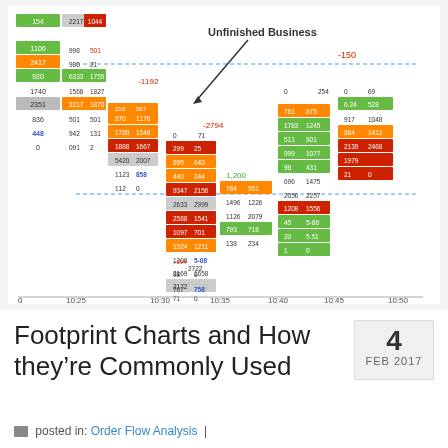[Figure (other): Footprint chart (order flow analysis) showing bid/ask volume data across multiple price levels and time columns. Contains color-coded cells (green, red, orange, gray) with numeric order flow values. An annotation arrow points to 'Unfinished Business' area. Blue dashed horizontal lines mark value areas. X-axis shows time labels from 10:25 to 10:50.]
Footprint Charts and How they're Commonly Used
4 FEB 2017
posted in: Order Flow Analysis |